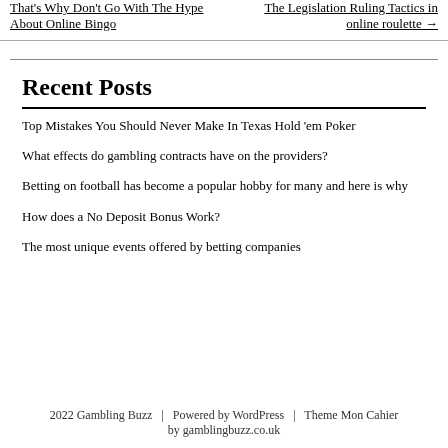That's Why Don't Go With The Hype About Online Bingo / The Legislation Ruling Tactics in online roulette →
Recent Posts
Top Mistakes You Should Never Make In Texas Hold 'em Poker
What effects do gambling contracts have on the providers?
Betting on football has become a popular hobby for many and here is why
How does a No Deposit Bonus Work?
The most unique events offered by betting companies
2022 Gambling Buzz   |   Powered by WordPress   |   Theme Mon Cahier by gamblingbuzz.co.uk